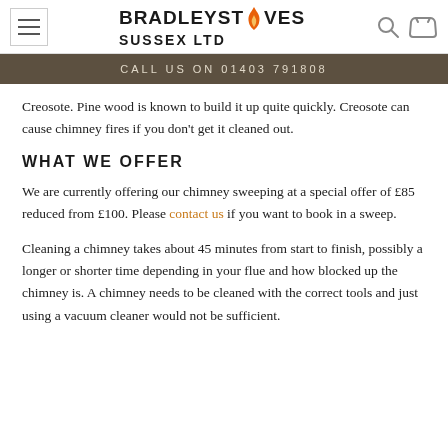BRADLEY STOVES SUSSEX LTD
CALL US ON 01403 791808
Creosote. Pine wood is known to build it up quite quickly. Creosote can cause chimney fires if you don't get it cleaned out.
WHAT WE OFFER
We are currently offering our chimney sweeping at a special offer of £85 reduced from £100. Please contact us if you want to book in a sweep.
Cleaning a chimney takes about 45 minutes from start to finish, possibly a longer or shorter time depending in your flue and how blocked up the chimney is. A chimney needs to be cleaned with the correct tools and just using a vacuum cleaner would not be sufficient.